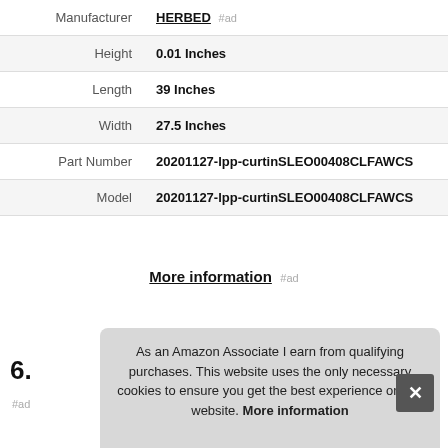| Attribute | Value |
| --- | --- |
| Manufacturer | HERBED #ad |
| Height | 0.01 Inches |
| Length | 39 Inches |
| Width | 27.5 Inches |
| Part Number | 20201127-lpp-curtinSLEO00408CLFAWCS |
| Model | 20201127-lpp-curtinSLEO00408CLFAWCS |
More information #ad
6.
#ad
As an Amazon Associate I earn from qualifying purchases. This website uses the only necessary cookies to ensure you get the best experience on our website. More information